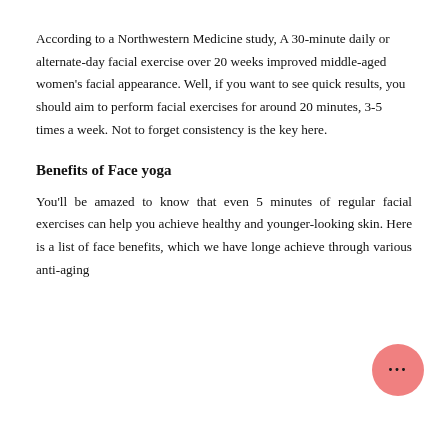According to a Northwestern Medicine study, A 30-minute daily or alternate-day facial exercise over 20 weeks improved middle-aged women's facial appearance. Well, if you want to see quick results, you should aim to perform facial exercises for around 20 minutes, 3-5 times a week. Not to forget consistency is the key here.
Benefits of Face yoga
You'll be amazed to know that even 5 minutes of regular facial exercises can help you achieve healthy and younger-looking skin. Here is a list of face benefits, which we have longe achieve through various anti-aging